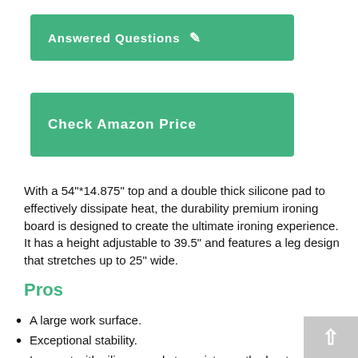[Figure (other): Green button labeled 'Answered Questions' with a pencil/edit icon]
[Figure (other): Green button labeled 'Check Amazon Price']
With a 54"*14.875" top and a double thick silicone pad to effectively dissipate heat, the durability premium ironing board is designed to create the ultimate ironing experience. It has a height adjustable to 39.5" and features a leg design that stretches up to 25" wide.
Pros
A large work surface.
Exceptional stability.
Iron rest with silicone pads to resistance the heat.